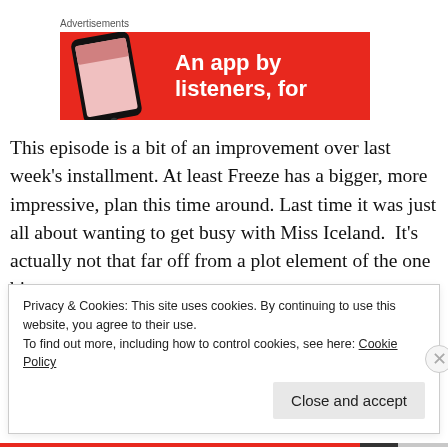Advertisements
[Figure (screenshot): Red advertisement banner with a smartphone image on the left and white bold text on the right reading 'An app by listeners, for']
This episode is a bit of an improvement over last week's installment. At least Freeze has a bigger, more impressive, plan this time around. Last time it was just all about wanting to get busy with Miss Iceland.  It's actually not that far off from a plot element of the one big screen
Privacy & Cookies: This site uses cookies. By continuing to use this website, you agree to their use.
To find out more, including how to control cookies, see here: Cookie Policy
Close and accept